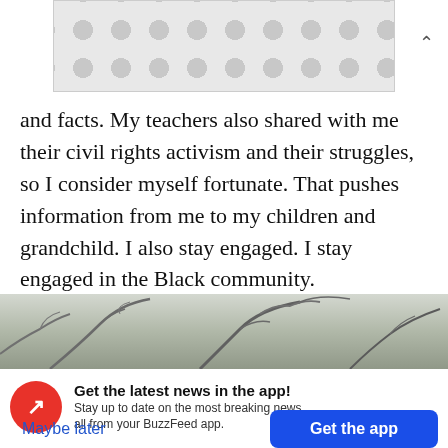[Figure (other): Advertisement banner with dot/circle pattern background]
and facts. My teachers also shared with me their civil rights activism and their struggles, so I consider myself fortunate. That pushes information from me to my children and grandchild. I also stay engaged. I stay engaged in the Black community.
[Figure (photo): Photograph of bare winter tree branches against a grey sky]
Get the latest news in the app! Stay up to date on the most breaking news, all from your BuzzFeed app.
Maybe later
Get the app